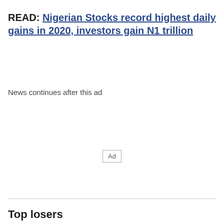READ: Nigerian Stocks record highest daily gains in 2020, investors gain N1 trillion
News continues after this ad
[Figure (other): Ad placeholder box with text 'Ad']
Top losers